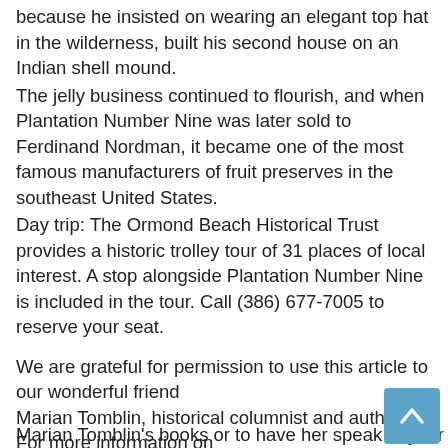because he insisted on wearing an elegant top hat in the wilderness, built his second house on an Indian shell mound.
The jelly business continued to flourish, and when Plantation Number Nine was later sold to Ferdinand Nordman, it became one of the most famous manufacturers of fruit preserves in the southeast United States.
Day trip: The Ormond Beach Historical Trust provides a historic trolley tour of 31 places of local interest. A stop alongside Plantation Number Nine is included in the tour. Call (386) 677-7005 to reserve your seat.
We are grateful for permission to use this article to our wonderful friend Marian Tomblin, historical columnist and author. For more information on
Marian Tomblin's books or to have her speak at your